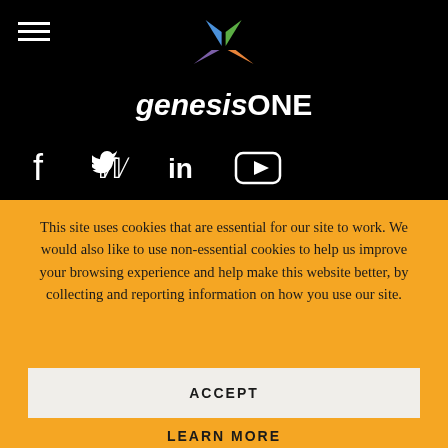[Figure (logo): genesisONE logo with colorful pinwheel icon on black background]
[Figure (infographic): Social media icons: Facebook, Twitter, LinkedIn, YouTube on black background]
This site uses cookies that are essential for our site to work. We would also like to use non-essential cookies to help us improve your browsing experience and help make this website better, by collecting and reporting information on how you use our site.
ACCEPT
LEARN MORE